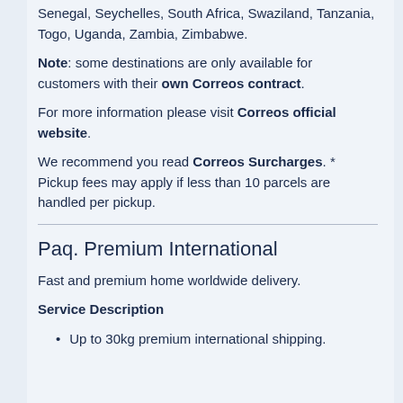Senegal, Seychelles, South Africa, Swaziland, Tanzania, Togo, Uganda, Zambia, Zimbabwe.
Note: some destinations are only available for customers with their own Correos contract.
For more information please visit Correos official website.
We recommend you read Correos Surcharges. * Pickup fees may apply if less than 10 parcels are handled per pickup.
Paq. Premium International
Fast and premium home worldwide delivery.
Service Description
Up to 30kg premium international shipping.